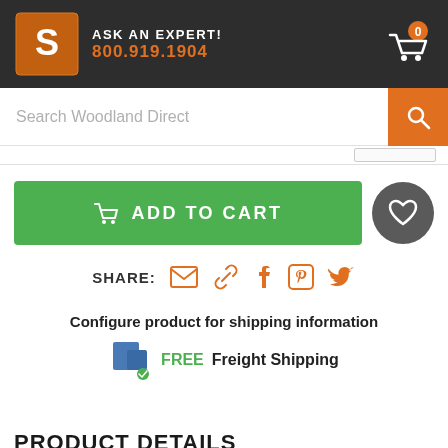ASK AN EXPERT! 800.919.1904
Search Woodland Direct
ADD TO CART
SHARE:
Configure product for shipping information
FREE Freight Shipping
PRODUCT DETAILS